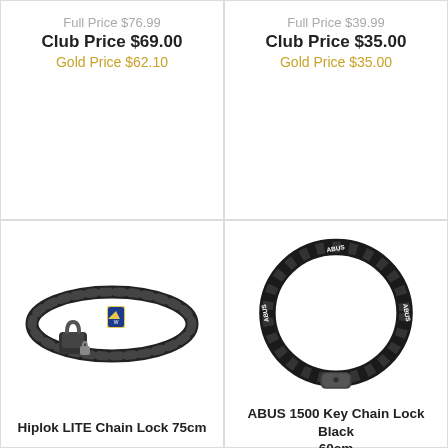Full Price $76.99
Club Price $69.00
Gold Price $62.10
Full Price $39.99
Club Price $35.00
Gold Price $35.00
[Figure (photo): Hiplok LITE Chain Lock 75cm product photo showing a black chain lock coiled up with combination lock mechanism]
Hiplok LITE Chain Lock 75cm
[Figure (photo): ABUS 1500 Key Chain Lock Black 60cm product photo showing a black chain lock in a circular loop with key lock]
ABUS 1500 Key Chain Lock Black 60cm